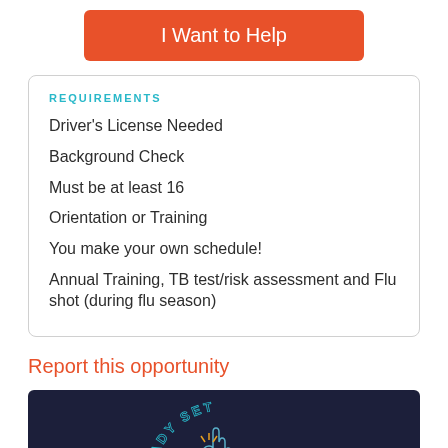I Want to Help
REQUIREMENTS
Driver's License Needed
Background Check
Must be at least 16
Orientation or Training
You make your own schedule!
Annual Training, TB test/risk assessment and Flu shot (during flu season)
Report this opportunity
[Figure (logo): Dark navy background with 'READY SET' text arranged in an arc above a hand/wave icon logo]